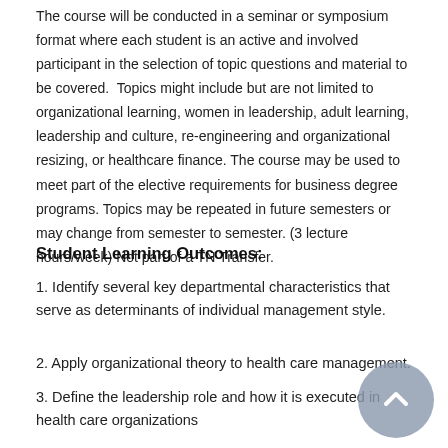The course will be conducted in a seminar or symposium format where each student is an active and involved participant in the selection of topic questions and material to be covered. Topics might include but are not limited to organizational learning, women in leadership, adult learning, leadership and culture, re-engineering and organizational resizing, or healthcare finance. The course may be used to meet part of the elective requirements for business degree programs. Topics may be repeated in future semesters or may change from semester to semester. (3 lecture hours/week) Not part of a TN Transfer.
Student Learning Outcomes:
1. Identify several key departmental characteristics that serve as determinants of individual management style.
2. Apply organizational theory to health care management.
3. Define the leadership role and how it is executed in health care organizations